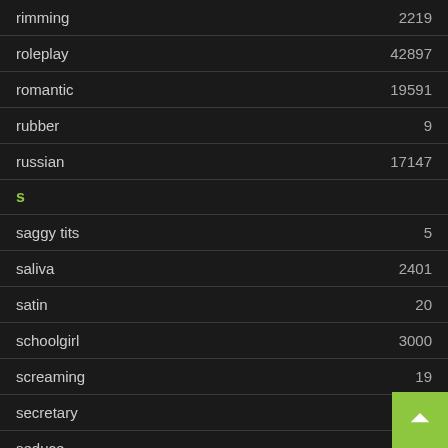| term | count |
| --- | --- |
| rimming | 2219 |
| roleplay | 42897 |
| romantic | 19591 |
| rubber | 9 |
| russian | 17147 |
| S |  |
| saggy tits | 5 |
| saliva | 2401 |
| satin | 20 |
| schoolgirl | 3000 |
| screaming | 19 |
| secretary | 118 |
| seduce | 46 |
| sensual | 4087 |
| sex | 9328 |
| sexy |  |